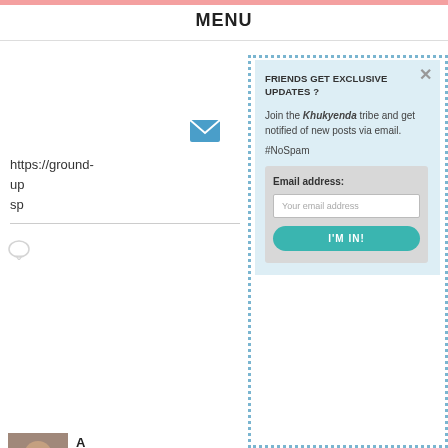MENU
[Figure (screenshot): Screenshot of a blog website with a modal popup overlay for email subscription. The popup has a dotted blue border and is titled 'FRIENDS GET EXCLUSIVE UPDATES?' with a form to enter an email address and an 'I'M IN!' button. Behind the popup, partial page content is visible including a URL starting with 'https://ground-', a comment icon, an avatar image, and partial text.]